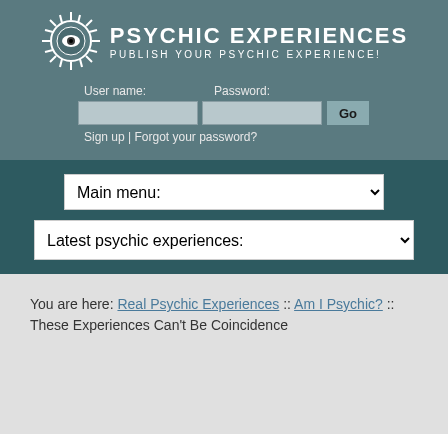[Figure (logo): Psychic Experiences logo with sun/eye symbol and text 'PSYCHIC EXPERIENCES - PUBLISH YOUR PSYCHIC EXPERIENCE!']
User name: Password:
Sign up | Forgot your password?
Main menu:
Latest psychic experiences:
You are here: Real Psychic Experiences :: Am I Psychic? :: These Experiences Can't Be Coincidence